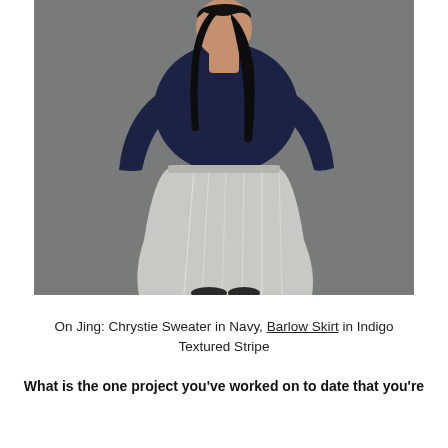[Figure (photo): A woman wearing a navy Chrystie Sweater and a light grey/indigo textured stripe Barlow Skirt, standing against a grey wall. She has long dark hair.]
On Jing: Chrystie Sweater in Navy, Barlow Skirt in Indigo Textured Stripe
What is the one project you've worked on to date that you're